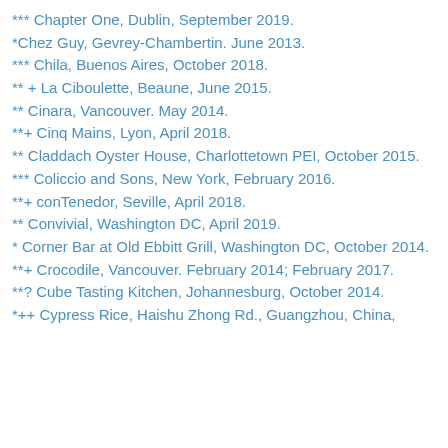*** Chapter One, Dublin, September 2019.
*Chez Guy, Gevrey-Chambertin. June 2013.
*** Chila, Buenos Aires, October 2018.
** + La Ciboulette, Beaune, June 2015.
** Cinara, Vancouver. May 2014.
**+ Cinq Mains, Lyon, April 2018.
** Claddach Oyster House, Charlottetown PEI, October 2015.
*** Coliccio and Sons, New York, February 2016.
**+ conTenedor, Seville, April 2018.
** Convivial, Washington DC, April 2019.
* Corner Bar at Old Ebbitt Grill, Washington DC, October 2014.
**+ Crocodile, Vancouver. February 2014; February 2017.
**? Cube Tasting Kitchen, Johannesburg, October 2014.
*++ Cypress Rice, Haishu Zhong Rd., Guangzhou, China,